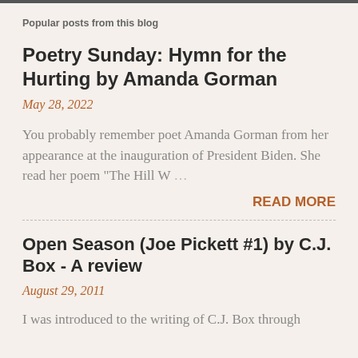Popular posts from this blog
Poetry Sunday: Hymn for the Hurting by Amanda Gorman
May 28, 2022
You probably remember poet Amanda Gorman from her appearance at the inauguration of President Biden. She read her poem "The Hill W …
READ MORE
Open Season (Joe Pickett #1) by C.J. Box - A review
August 29, 2011
I was introduced to the writing of C.J. Box through